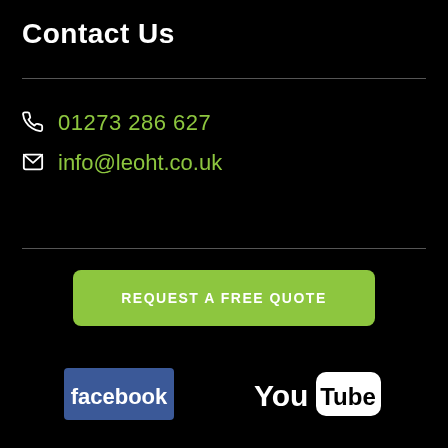Contact Us
📞 01273 286 627
✉ info@leoht.co.uk
REQUEST A FREE QUOTE
[Figure (logo): Facebook logo — blue rectangle with white 'facebook' text]
[Figure (logo): YouTube logo — 'You' in white text next to white rounded rectangle with 'Tube' in black text]